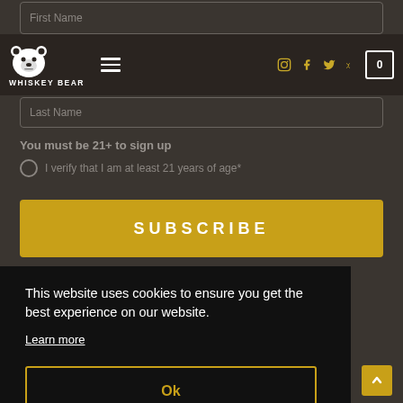[Figure (screenshot): Form input field with placeholder text 'First Name' on dark background]
WHISKEY BEAR — Navigation bar with logo, hamburger menu, social icons (Instagram, Facebook, Twitter, Yelp), and cart button showing 0
[Figure (screenshot): Form input field with placeholder text 'Last Name' on dark background]
You must be 21+ to sign up
I verify that I am at least 21 years of age*
SUBSCRIBE
This website uses cookies to ensure you get the best experience on our website.
Learn more
Ok